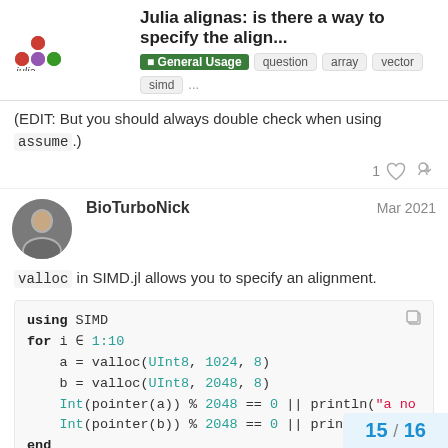Julia alignas: is there a way to specify the align... General Usage question array vector simd ...
(EDIT: But you should always double check when using assume.)
1 [like] [link]
BioTurboNick  Mar 2021
valloc in SIMD.jl allows you to specify an alignment.
using SIMD
for i ∈ 1:10
    a = valloc(UInt8, 1024, 8)
    b = valloc(UInt8, 2048, 8)
    Int(pointer(a)) % 2048 == 0 || println("a no
    Int(pointer(b)) % 2048 == 0 || println("b no
end
15 / 16